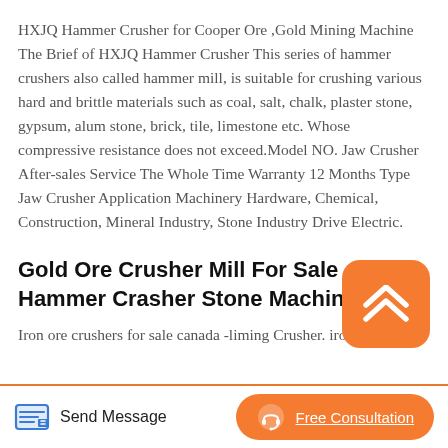HXJQ Hammer Crusher for Cooper Ore ,Gold Mining Machine The Brief of HXJQ Hammer Crusher This series of hammer crushers also called hammer mill, is suitable for crushing various hard and brittle materials such as coal, salt, chalk, plaster stone, gypsum, alum stone, brick, tile, limestone etc. Whose compressive resistance does not exceed.Model NO. Jaw Crusher After-sales Service The Whole Time Warranty 12 Months Type Jaw Crusher Application Machinery Hardware, Chemical, Construction, Mineral Industry, Stone Industry Drive Electric.
[Figure (illustration): Orange rounded square button with two upward-pointing chevron/arrow lines in white]
Gold Ore Crusher Mill For Sale Hammer Crasher Stone Machine
Iron ore crushers for sale canada -liming Crusher. iron
Send Message   Free Consultation